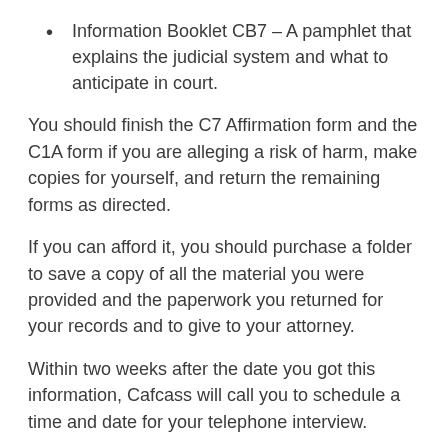Information Booklet CB7 – A pamphlet that explains the judicial system and what to anticipate in court.
You should finish the C7 Affirmation form and the C1A form if you are alleging a risk of harm, make copies for yourself, and return the remaining forms as directed.
If you can afford it, you should purchase a folder to save a copy of all the material you were provided and the paperwork you returned for your records and to give to your attorney.
Within two weeks after the date you got this information, Cafcass will call you to schedule a time and date for your telephone interview.
Aside from submitting the documents within 14 days,